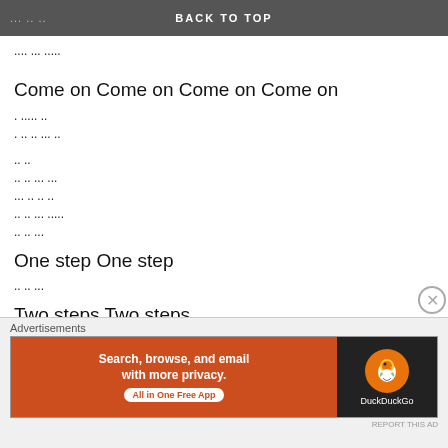Come on Come on Come on Come on ... ... ..  BACK TO TOP
.... ... .....
Come on Come on Come on Come on
. ..... ..
. .. .. ... ..
.. ..
.. .. ... ...
... .. .. ..
.. .. ... .....
.. .. ...
One step One step
.. .. ...
Two steps Two steps
Advertisements
[Figure (other): DuckDuckGo advertisement banner: Search, browse, and email with more privacy. All in One Free App]